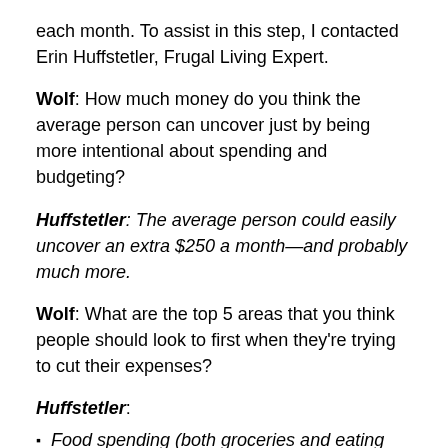each month. To assist in this step, I contacted Erin Huffstetler, Frugal Living Expert.
Wolf: How much money do you think the average person can uncover just by being more intentional about spending and budgeting?
Huffstetler: The average person could easily uncover an extra $250 a month—and probably much more.
Wolf: What are the top 5 areas that you think people should look to first when they're trying to cut their expenses?
Huffstetler:
Food spending (both groceries and eating out)
TV-related expenses (cable/satellite services, certainly;